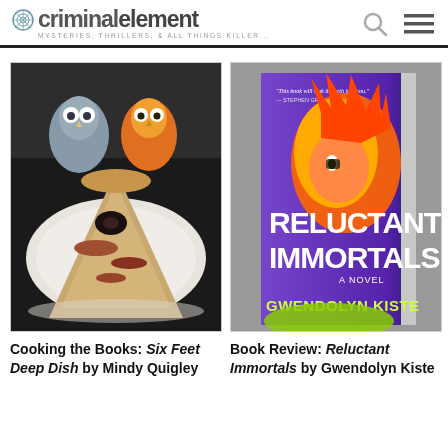criminalelement — MYSTERIES, THRILLERS, & ALL THINGS KILLER...
[Figure (photo): Photo of food — a slice of pizza on a white plate with owl figurines in the background]
[Figure (photo): Book cover of 'Reluctant Immortals: A Novel' by Gwendolyn Kiste — purple/magenta cover with stylized face illustration]
Cooking the Books: Six Feet Deep Dish by Mindy Quigley
Book Review: Reluctant Immortals by Gwendolyn Kiste